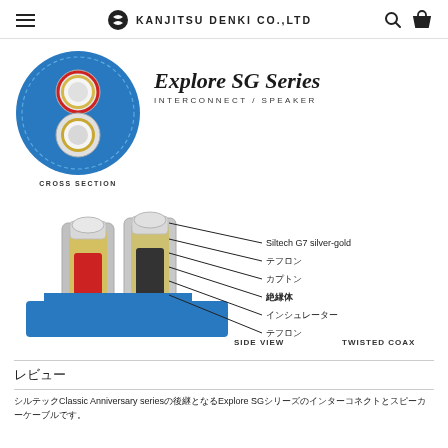KANJITSU DENKI CO.,LTD
[Figure (engineering-diagram): Cross section diagram of Explore SG Series cable showing circular cross section with two conductors (blue outer jacket, red and black inner conductors with gold/silver wire), and side view/twisted coax diagram with labels: Siltech G7 silver-gold, テフロン, カプトン, 絶縁体, インシュレーター, テフロン. Labels: CROSS SECTION, SIDE VIEW, TWISTED COAX]
Explore SG Series
INTERCONNECT / SPEAKER
レビュー
シルテックClassic Anniversary seriesの後継となるExplore SGシリーズのインターコネクトとスピーカーケーブルです。